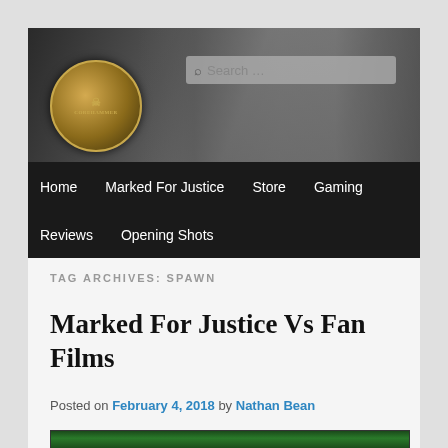[Figure (screenshot): Website header banner for Corehammer with skull logo, punk imagery in black and white, and a search box]
Home  Marked For Justice  Store  Gaming  Reviews  Opening Shots
TAG ARCHIVES: SPAWN
Marked For Justice Vs Fan Films
Posted on February 4, 2018 by Nathan Bean
[Figure (screenshot): Thumbnail image strip at bottom of page]